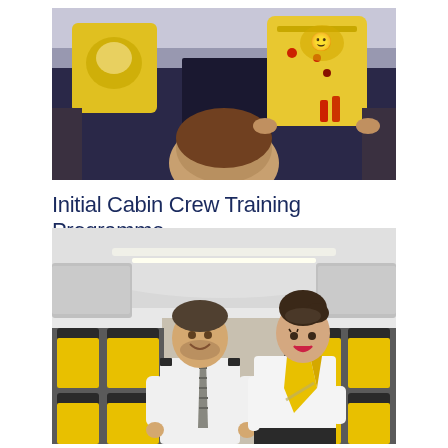[Figure (photo): Flight attendant demonstrating safety equipment (yellow life vest) inside an aircraft cabin, viewed from behind passengers seated in rows.]
Initial Cabin Crew Training Programme
[Figure (photo): Two cabin crew members in uniform standing in the aisle of an aircraft with yellow and grey seats. Male crew member on left in white short-sleeve shirt with grey tie, female crew member on right in white blouse with yellow scarf/cravat.]